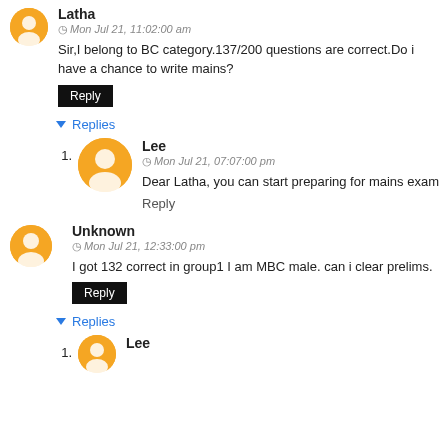Latha
Mon Jul 21, 11:02:00 am
Sir,I belong to BC category.137/200 questions are correct.Do i have a chance to write mains?
Reply
Replies
Lee
Mon Jul 21, 07:07:00 pm
Dear Latha, you can start preparing for mains exam
Reply
Unknown
Mon Jul 21, 12:33:00 pm
I got 132 correct in group1 I am MBC male. can i clear prelims.
Reply
Replies
Lee